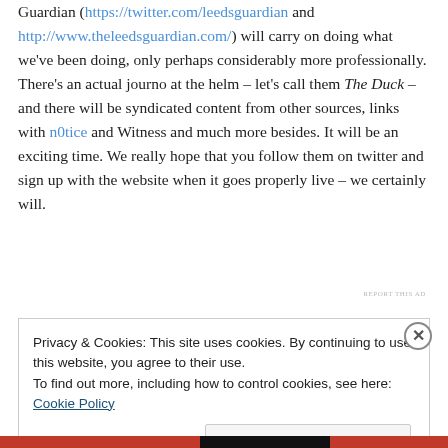Guardian (https://twitter.com/leedsguardian and http://www.theleedsguardian.com/) will carry on doing what we've been doing, only perhaps considerably more professionally. There's an actual journo at the helm – let's call them The Duck – and there will be syndicated content from other sources, links with n0tice and Witness and much more besides. It will be an exciting time. We really hope that you follow them on twitter and sign up with the website when it goes properly live – we certainly will.
REPORT THIS AD
Privacy & Cookies: This site uses cookies. By continuing to use this website, you agree to their use.
To find out more, including how to control cookies, see here: Cookie Policy
Close and accept